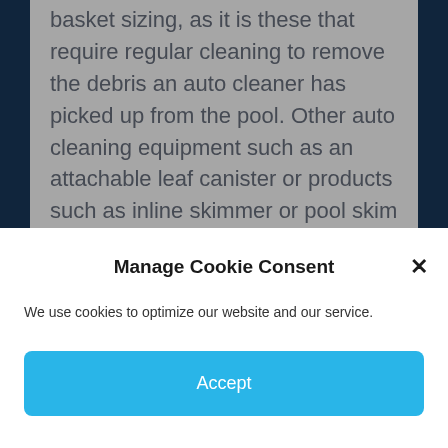basket sizing, as it is these that require regular cleaning to remove the debris an auto cleaner has picked up from the pool. Other auto cleaning equipment such as an attachable leaf canister or products such as inline skimmer or pool skim (attaches to a pool return), may be viable options in a pool receiving constant leaf litter though these also require regular emptying. The cost of a
Manage Cookie Consent
We use cookies to optimize our website and our service.
Accept